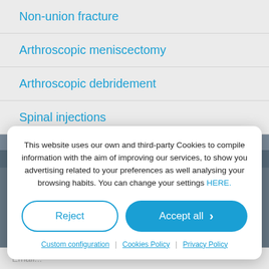Non-union fracture
Arthroscopic meniscectomy
Arthroscopic debridement
Spinal injections
Paediatrics
This website uses our own and third-party Cookies to compile information with the aim of improving our services, to show you advertising related to your preferences as well analysing your browsing habits. You can change your settings HERE.
Reject
Accept all
Custom configuration | Cookies Policy | Privacy Policy
Email...